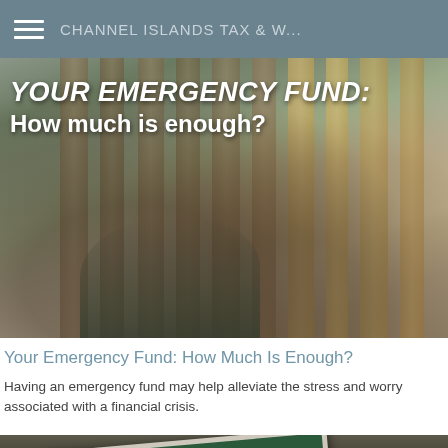CHANNEL ISLANDS TAX & W...
[Figure (photo): Person pressing hands against wooden fence planks with text overlay reading YOUR EMERGENCY FUND: How much is enough?]
Your Emergency Fund: How Much Is Enough?
Having an emergency fund may help alleviate the stress and worry associated with a financial crisis.
[Figure (photo): Tablet device showing 'Your Financial Foundation' on a dark green screen, resting on a dark outdoor surface, with a grey scroll-to-top button in the lower right corner.]